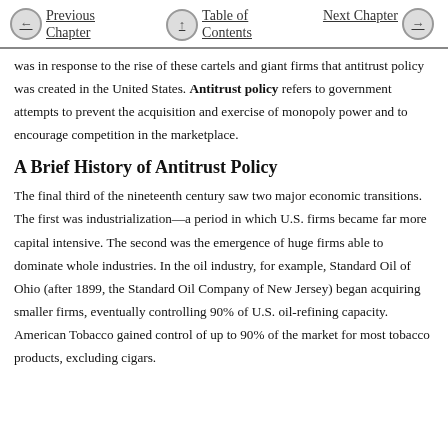Previous Chapter | Table of Contents | Next Chapter
was in response to the rise of these cartels and giant firms that antitrust policy was created in the United States. Antitrust policy refers to government attempts to prevent the acquisition and exercise of monopoly power and to encourage competition in the marketplace.
A Brief History of Antitrust Policy
The final third of the nineteenth century saw two major economic transitions. The first was industrialization—a period in which U.S. firms became far more capital intensive. The second was the emergence of huge firms able to dominate whole industries. In the oil industry, for example, Standard Oil of Ohio (after 1899, the Standard Oil Company of New Jersey) began acquiring smaller firms, eventually controlling 90% of U.S. oil-refining capacity. American Tobacco gained control of up to 90% of the market for most tobacco products, excluding cigars.